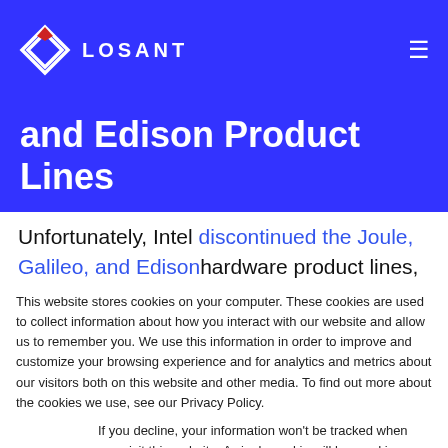LOSANT
and Edison Product Lines
Unfortunately, Intel discontinued the Joule, Galileo, and Edison hardware product lines, which were Intel's maker-targeted hardware
This website stores cookies on your computer. These cookies are used to collect information about how you interact with our website and allow us to remember you. We use this information in order to improve and customize your browsing experience and for analytics and metrics about our visitors both on this website and other media. To find out more about the cookies we use, see our Privacy Policy.
If you decline, your information won't be tracked when you visit this website. A single cookie will be used in your browser to remember your preference not to be tracked.